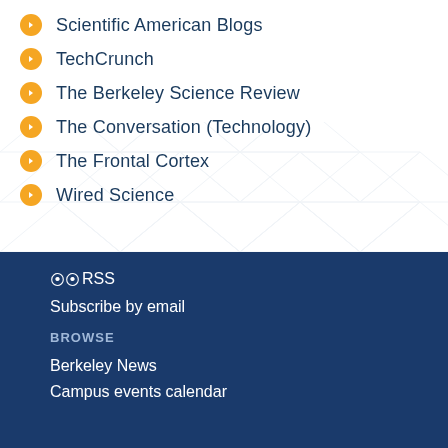Scientific American Blogs
TechCrunch
The Berkeley Science Review
The Conversation (Technology)
The Frontal Cortex
Wired Science
RSS
Subscribe by email
BROWSE
Berkeley News
Campus events calendar